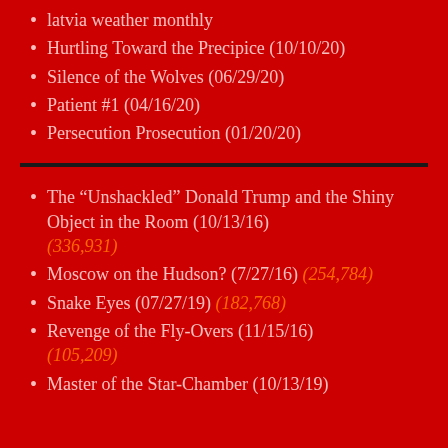latvia weather monthly
Hurtling Toward the Precipice (10/10/20)
Silence of the Wolves (06/29/20)
Patient #1 (04/16/20)
Persecution Prosecution (01/20/20)
The “Unshackled” Donald Trump and the Shiny Object in the Room (10/13/16) (336,931)
Moscow on the Hudson? (7/27/16) (254,784)
Snake Eyes (07/27/19) (182,768)
Revenge of the Fly-Overs (11/15/16) (105,209)
Master of the Star-Chamber (10/13/19)